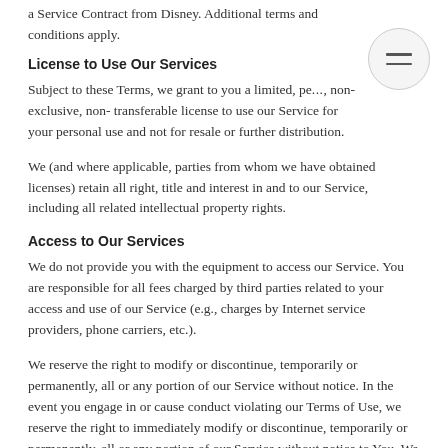a Service Contract from Disney. Additional terms and conditions apply.
License to Use Our Services
Subject to these Terms, we grant to you a limited, pe..., non-exclusive, non- transferable license to use our Service for your personal use and not for resale or further distribution.
We (and where applicable, parties from whom we have obtained licenses) retain all right, title and interest in and to our Service, including all related intellectual property rights.
Access to Our Services
We do not provide you with the equipment to access our Service. You are responsible for all fees charged by third parties related to your access and use of our Service (e.g., charges by Internet service providers, phone carriers, etc.).
We reserve the right to modify or discontinue, temporarily or permanently, all or any portion of our Service without notice. In the event you engage in or cause conduct violating our Terms of Use, we reserve the right to immediately modify or discontinue, temporarily or permanently, all or any portion of our Service without notice to You. We will not be liable to you or to any third party for any modification, suspension, or discontinuance of all or any portion of our Service.
Restrictions